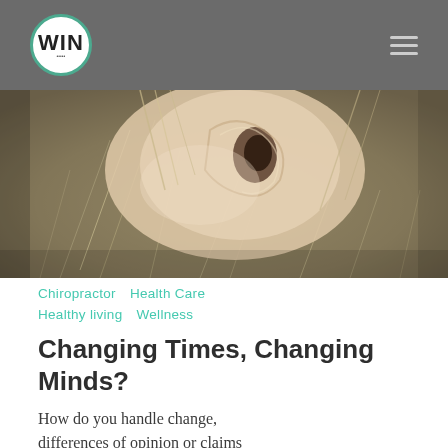WIN
[Figure (photo): Close-up photo of a person's ear with hair, possibly showing ear acupuncture or anatomy detail. Blurred natural background.]
Chiropractor   Health Care   Healthy living   Wellness
Changing Times, Changing Minds?
How do you handle change, differences of opinion or claims